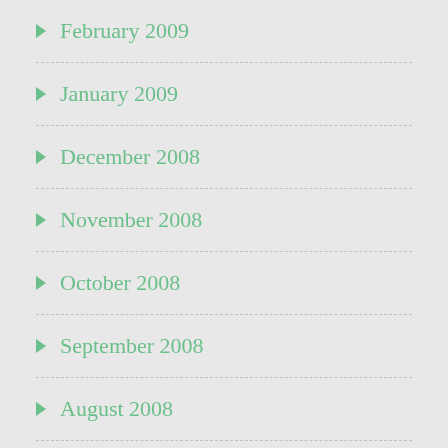February 2009
January 2009
December 2008
November 2008
October 2008
September 2008
August 2008
July 2008